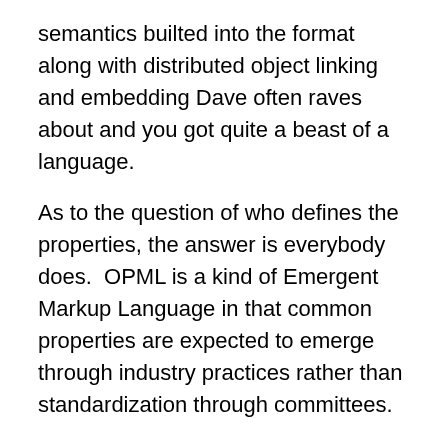semantics builted into the format along with distributed object linking and embedding Dave often raves about and you got quite a beast of a language.
As to the question of who defines the properties, the answer is everybody does.  OPML is a kind of Emergent Markup Language in that common properties are expected to emerge through industry practices rather than standardization through committees.
There are some shortcomings with OPML though which I would like to see addressed.
OPML Wiki
OPML needs a wiki for OPML developers to interact with each other and to document how each of them are using OPML so that standard or type-specific properties may